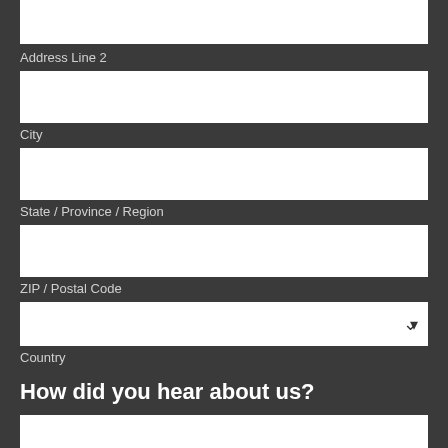[Figure (other): Empty white input box for Address Line 2 (top, partially visible)]
Address Line 2
[Figure (other): Empty white input box for City]
City
[Figure (other): Empty white input box for State / Province / Region]
State / Province / Region
[Figure (other): Empty white input box for ZIP / Postal Code]
ZIP / Postal Code
[Figure (other): Dropdown select box for Country with down-chevron arrow]
Country
How did you hear about us?
[Figure (other): Empty white input box (partially visible at bottom)]